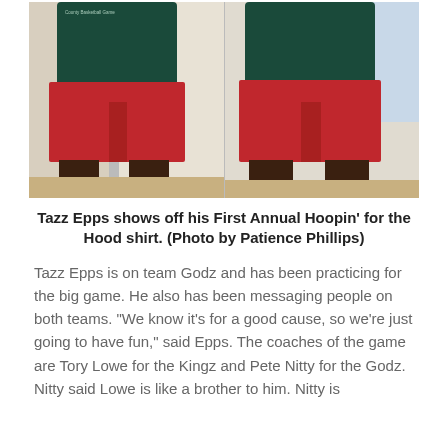[Figure (photo): Two side-by-side photos of a person (Tazz Epps) wearing a dark teal shirt with text 'County Basketball Game' and red basketball shorts, showing front and back views.]
Tazz Epps shows off his First Annual Hoopin' for the Hood shirt. (Photo by Patience Phillips)
Tazz Epps is on team Godz and has been practicing for the big game. He also has been messaging people on both teams. “We know it’s for a good cause, so we’re just going to have fun,” said Epps. The coaches of the game are Tory Lowe for the Kingz and Pete Nitty for the Godz. Nitty said Lowe is like a brother to him. Nitty is